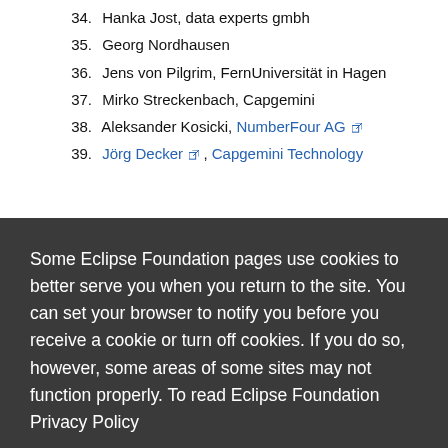34. Hanka Jost, data experts gmbh
35. Georg Nordhausen
36. Jens von Pilgrim, FernUniversität in Hagen
37. Mirko Streckenbach, Capgemini
38. Aleksander Kosicki, NumberFour AG
39. Jörg Decker, Capgemini Technology
Some Eclipse Foundation pages use cookies to better serve you when you return to the site. You can set your browser to notify you before you receive a cookie or turn off cookies. If you do so, however, some areas of some sites may not function properly. To read Eclipse Foundation Privacy Policy click here.
50. Stefan Hintz, Axel Springer AG